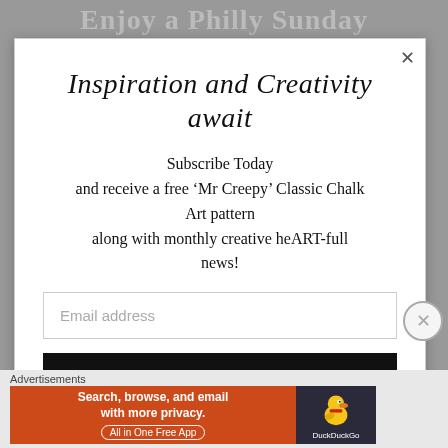Enjoy a Philly Sunday
Inspiration and Creativity await
Subscribe Today and receive a free ‘Mr Creepy’ Classic Chalk Art pattern along with monthly creative heART-full news!
Email address
[Figure (screenshot): Black subscribe button bar]
Advertisements
[Figure (screenshot): DuckDuckGo advertisement banner: orange left side with text 'Search, browse, and email with more privacy. All in One Free App', dark right side with DuckDuckGo duck logo]